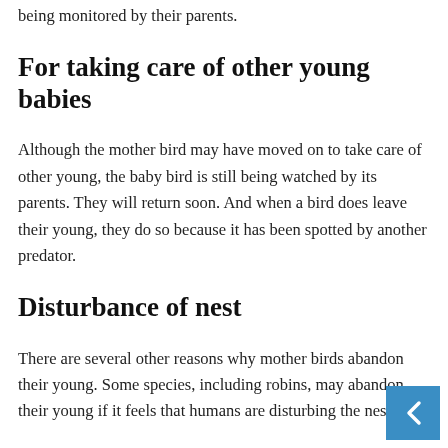being monitored by their parents.
For taking care of other young babies
Although the mother bird may have moved on to take care of other young, the baby bird is still being watched by its parents. They will return soon. And when a bird does leave their young, they do so because it has been spotted by another predator.
Disturbance of nest
There are several other reasons why mother birds abandon their young. Some species, including robins, may abandon their young if it feels that humans are disturbing the nest.
Abandoning due to any danger
Others may choose to leave if they feel a predator is near. If